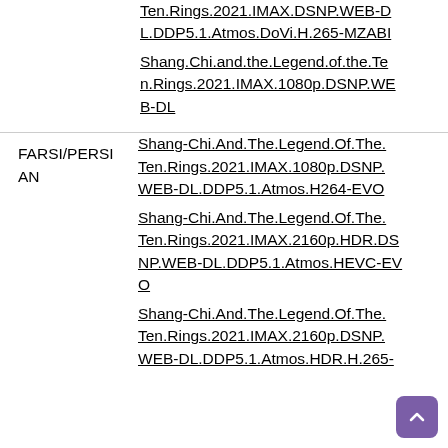Ten.Rings.2021.IMAX.DSNP.WEB-DL.DDP5.1.Atmos.DoVi.H.265-MZABI Shang.Chi.and.the.Legend.of.the.Ten.Rings.2021.IMAX.1080p.DSNP.WEB-DL
| Language | Links |
| --- | --- |
| FARSI/PERSIAN | Shang-Chi.And.The.Legend.Of.The.Ten.Rings.2021.IMAX.1080p.DSNP.WEB-DL.DDP5.1.Atmos.H264-EVO
Shang-Chi.And.The.Legend.Of.The.Ten.Rings.2021.IMAX.2160p.HDR.DSNP.WEB-DL.DDP5.1.Atmos.HEVC-EVO
Shang-Chi.And.The.Legend.Of.The.Ten.Rings.2021.IMAX.2160p.DSNP.WEB-DL.DDP5.1.Atmos.HDR.H.265- |